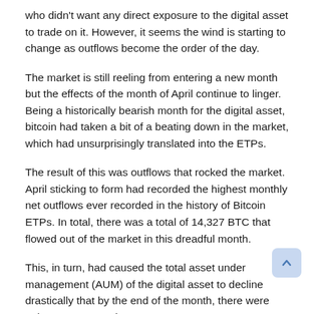who didn't want any direct exposure to the digital asset to trade on it. However, it seems the wind is starting to change as outflows become the order of the day.
The market is still reeling from entering a new month but the effects of the month of April continue to linger. Being a historically bearish month for the digital asset, bitcoin had taken a bit of a beating down in the market, which had unsurprisingly translated into the ETPs.
The result of this was outflows that rocked the market. April sticking to form had recorded the highest monthly net outflows ever recorded in the history of Bitcoin ETPs. In total, there was a total of 14,327 BTC that flowed out of the market in this dreadful month.
This, in turn, had caused the total asset under management (AUM) of the digital asset to decline drastically that by the end of the month, there were only 187,000 BTC in AUM